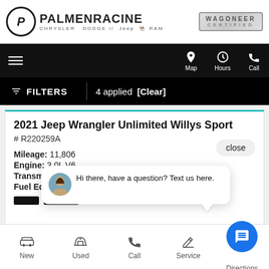[Figure (logo): Palmen Racine dealership logo with Chrysler, Dodge, Jeep, RAM brand logos and Wagoneer Certified badge]
Map  Hours  Call
FILTERS  |  4 applied  [Clear]
2021 Jeep Wrangler Unlimited Willys Sport
# R220259A
Mileage: 11,806
Engine: 3.0L V6
Transmission:
Fuel Economy:
[Figure (screenshot): Chat widget with avatar photo and text: Hi there, have a question? Text us here.]
New  Used  Call  Service  Directions